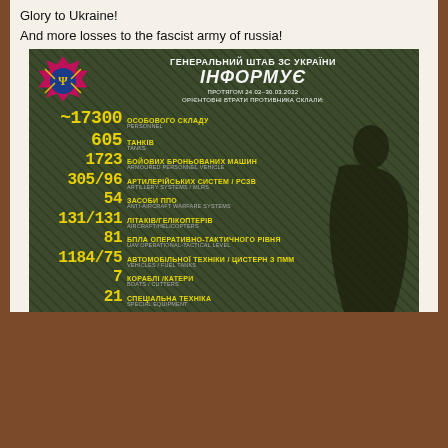Glory to Ukraine!
And more losses to the fascist army of russia!
[Figure (infographic): Ukrainian General Staff infographic showing Russian military losses during 24.02-30.03.2022. Personnel: ~17300, Tanks: 605, Armoured Personnel Vehicles: 1723, Artillery Systems/MLRS: 305/96, Anti-Aircraft Warfare Systems: 54, Aircraft/Helicopters: 131/131, UAV Operational-Tactical Level: 81, Vehicles/Fuel Tanks: 1184/75, Boats/Cutters: 7, Special Equipment: 21. Features Ukrainian military emblem and text in Ukrainian and English.]